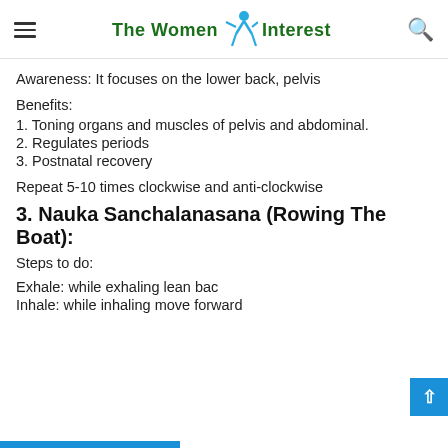The Women Interest
Awareness: It focuses on the lower back, pelvis
Benefits:
1. Toning organs and muscles of pelvis and abdominal.
2. Regulates periods
3. Postnatal recovery
Repeat 5-10 times clockwise and anti-clockwise
3. Nauka Sanchalanasana (Rowing The Boat):
Steps to do:
Exhale: while exhaling lean bac
Inhale: while inhaling move forward